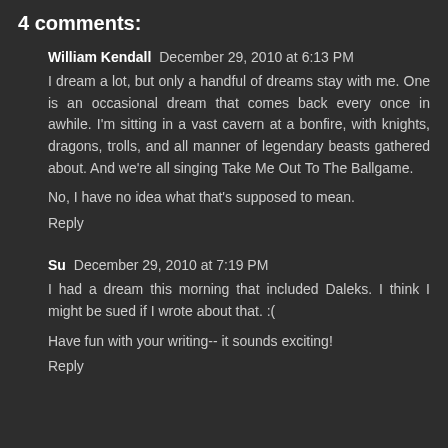4 comments:
William Kendall  December 29, 2010 at 6:13 PM
I dream a lot, but only a handful of dreams stay with me. One is an occasional dream that comes back every once in awhile. I'm sitting in a vast cavern at a bonfire, with knights, dragons, trolls, and all manner of legendary beasts gathered about. And we're all singing Take Me Out To The Ballgame.
No, I have no idea what that's supposed to mean.
Reply
Su  December 29, 2010 at 7:19 PM
I had a dream this morning that included Daleks. I think I might be sued if I wrote about that. :(
Have fun with your writing-- it sounds exciting!
Reply